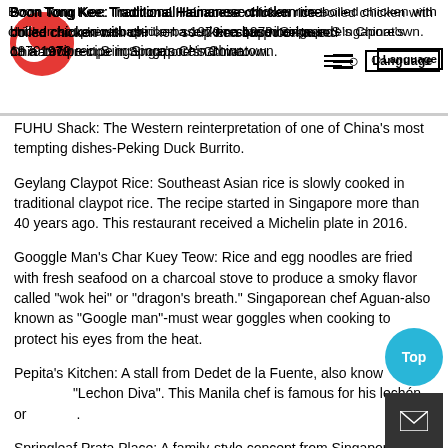Boon Tong Kee: Traditional Hainanese chicken rice-boiled chicken with chicken soup rice-based on a 1979 recipe in Singapore's Chinatown.
FUHU Shack: The Western reinterpretation of one of China's most tempting dishes-Peking Duck Burrito.
Geylang Claypot Rice: Southeast Asian rice is slowly cooked in traditional claypot rice. The recipe started in Singapore more than 40 years ago. This restaurant received a Michelin plate in 2016.
Googgle Man's Char Kuey Teow: Rice and egg noodles are fried with fresh seafood on a charcoal stove to produce a smoky flavor called "wok hei" or "dragon's breath." Singaporean chef Aguan-also known as "Google man"-must wear goggles when cooking to protect his eyes from the heat.
Pepita's Kitchen: A stall from Dedet de la Fuente, also known as "Lechon Diva". This Manila chef is famous for his lechón or roast pig.
Springleaf Prata Place: A family-style concept from Singapore,